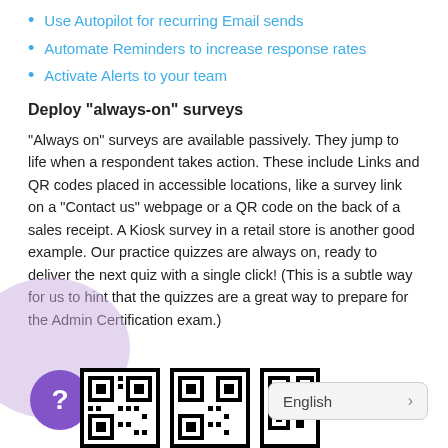Use Autopilot for recurring Email sends
Automate Reminders to increase response rates
Activate Alerts to your team
Deploy "always-on" surveys
“Always on” surveys are available passively. They jump to life when a respondent takes action. These include Links and QR codes placed in accessible locations, like a survey link on a “Contact us” webpage or a QR code on the back of a sales receipt. A Kiosk survey in a retail store is another good example. Our practice quizzes are always on, ready to deliver the next quiz with a single click! (This is a subtle way for us to hint that the quizzes are a great way to prepare for the Admin Certification exam.)
[Figure (other): Purple help circle button with question mark and QR code at bottom of page]
English